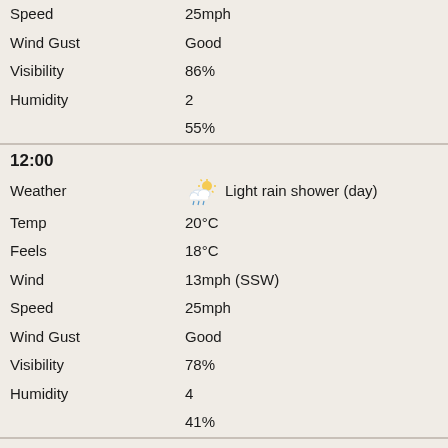| Field | Value |
| --- | --- |
| Speed | 25mph |
| Wind Gust | Good |
| Visibility | 86% |
| Humidity | 2 |
|  | 55% |
12:00
| Field | Value |
| --- | --- |
| Weather | Light rain shower (day) |
| Temp | 20°C |
| Feels | 18°C |
| Wind | 13mph (SSW) |
| Speed | 25mph |
| Wind Gust | Good |
| Visibility | 78% |
| Humidity | 4 |
|  | 41% |
15:00
| Field | Value |
| --- | --- |
| Weather | Light rain shower (day) |
| Temp | 21°C |
| Feels | 20°C |
| Wind | 11mph (SSW) |
| Speed | 22mph |
| Wind Gust | Very Good |
| Visibility | 74% |
| Humidity | 2 |